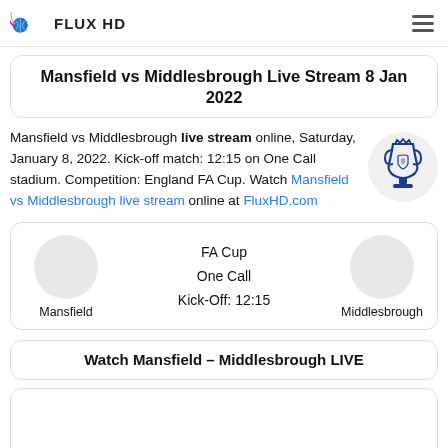FLUX HD
Mansfield vs Middlesbrough Live Stream 8 Jan 2022
Mansfield vs Middlesbrough live stream online, Saturday, January 8, 2022. Kick-off match: 12:15 on One Call stadium. Competition: England FA Cup. Watch Mansfield vs Middlesbrough live stream online at FluxHD.com
[Figure (logo): FA Cup trophy logo on grey circle background]
[Figure (infographic): Match card: FA Cup, One Call, Kick-Off: 12:15, Mansfield vs Middlesbrough with team badge placeholders]
Watch Mansfield – Middlesbrough LIVE
[Figure (screenshot): Video player placeholder area]